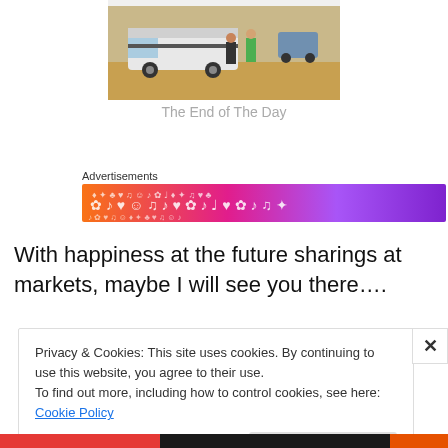[Figure (photo): A photo showing a van/minibus parked on dry grassy ground with people standing nearby, partially cropped at top]
The End of The Day
Advertisements
[Figure (illustration): A colorful banner advertisement with gradient from orange to purple with white musical and emoji symbols]
With happiness at the future sharings at markets, maybe I will see you there….
Privacy & Cookies: This site uses cookies. By continuing to use this website, you agree to their use.
To find out more, including how to control cookies, see here: Cookie Policy
Close and accept